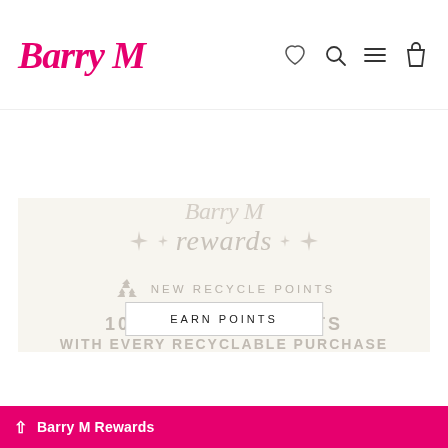Barry M
DISCOVER MORE
[Figure (illustration): Barry M Rewards section with watermark logo, sparkle icons, recycle symbol, text: NEW RECYCLE POINTS, 100 REWARD POINTS WITH EVERY RECYCLABLE PURCHASE]
EARN POINTS
Barry M Rewards